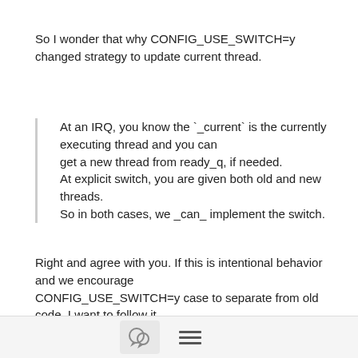So I wonder that why CONFIG_USE_SWITCH=y changed strategy to update current thread.
At an IRQ, you know the `_current` is the currently executing thread and you can
get a new thread from ready_q, if needed.
At explicit switch, you are given both old and new threads.
So in both cases, we _can_ implement the switch.
Right and agree with you. If this is intentional behavior and we encourage
CONFIG_USE_SWITCH=y case to separate from old code, I want to follow it.
I don't have any claim to current context switching specification, just want to
know "why changed?".